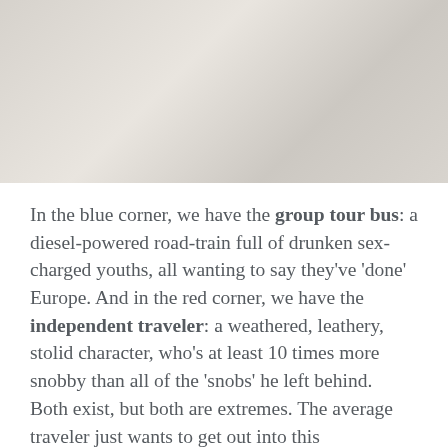[Figure (photo): A muted, washed-out photograph of what appears to be a person or scene, with light grays and beige tones forming the background image.]
In the blue corner, we have the group tour bus: a diesel-powered road-train full of drunken sex-charged youths, all wanting to say they've 'done' Europe. And in the red corner, we have the independent traveler: a weathered, leathery, stolid character, who's at least 10 times more snobby than all of the 'snobs' he left behind.
Both exist, but both are extremes. The average traveler just wants to get out into this